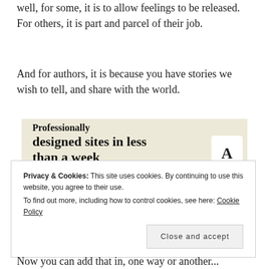well, for some, it is to allow feelings to be released. For others, it is part and parcel of their job.
And for authors, it is because you have stories we wish to tell, and share with the world.
[Figure (screenshot): Advertisement banner with beige background. Text reads 'Professionally designed sites in less than a week' with a green 'Explore options' button and website mockup screenshots on the right.]
Privacy & Cookies: This site uses cookies. By continuing to use this website, you agree to their use.
To find out more, including how to control cookies, see here: Cookie Policy
Close and accept
Now you can add that in, one way or another...